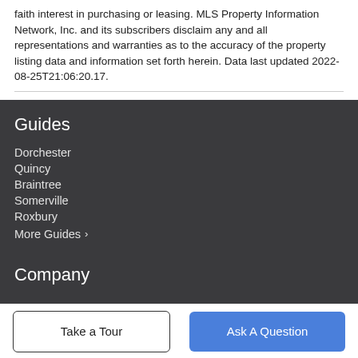faith interest in purchasing or leasing. MLS Property Information Network, Inc. and its subscribers disclaim any and all representations and warranties as to the accuracy of the property listing data and information set forth herein. Data last updated 2022-08-25T21:06:20.17.
Guides
Dorchester
Quincy
Braintree
Somerville
Roxbury
More Guides ›
Company
Take a Tour
Ask A Question